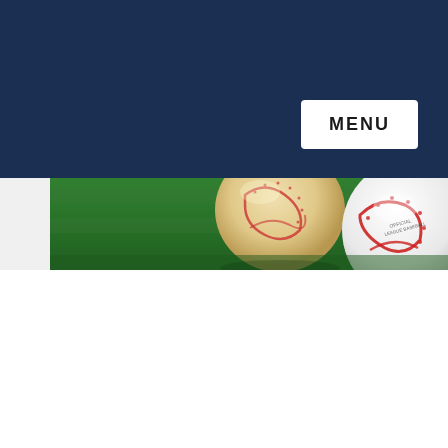[Figure (logo): InMarket logo in white text with green vertical bar between IN and MARKET on dark navy background]
MENU
[Figure (photo): Close-up photograph of two baseballs resting on green grass at a baseball stadium, with blurred scoreboard and players visible in background under a blue sky with clouds]